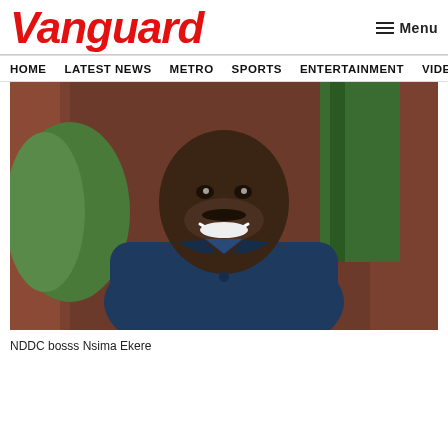Vanguard
HOME   LATEST NEWS   METRO   SPORTS   ENTERTAINMENT   VIDEOS
[Figure (photo): NDDC boss Nsima Ekere, a smiling man in a blue suit seated in a green chair against a wooden background]
NDDC bosss Nsima Ekere